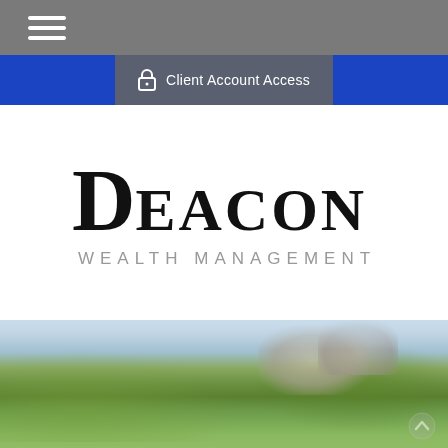[Figure (screenshot): Gray navigation bar with white hamburger menu icon on the left]
Client Account Access
[Figure (logo): Deacon Wealth Management logo — large serif D followed by EACON in serif font, with WEALTH MANAGEMENT in smaller gray sans-serif below]
[Figure (photo): Outdoor nature photograph showing green forested hills and rocky mountain formations, blurred background, bottom portion of page]